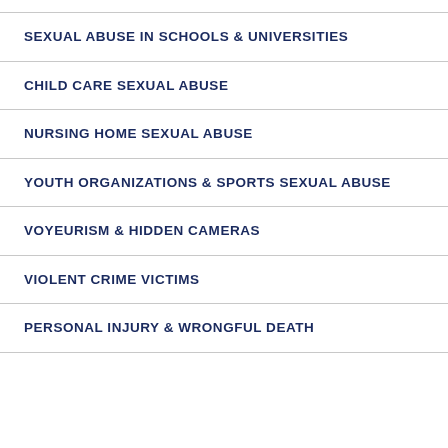SEXUAL ABUSE IN SCHOOLS & UNIVERSITIES
CHILD CARE SEXUAL ABUSE
NURSING HOME SEXUAL ABUSE
YOUTH ORGANIZATIONS & SPORTS SEXUAL ABUSE
VOYEURISM & HIDDEN CAMERAS
VIOLENT CRIME VICTIMS
PERSONAL INJURY & WRONGFUL DEATH